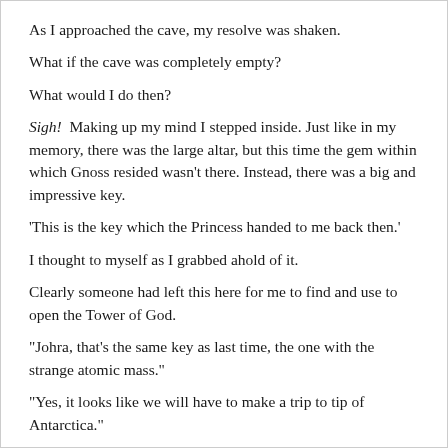As I approached the cave, my resolve was shaken.
What if the cave was completely empty?
What would I do then?
Sigh!  Making up my mind I stepped inside. Just like in my memory, there was the large altar, but this time the gem within which Gnoss resided wasn't there. Instead, there was a big and impressive key.
'This is the key which the Princess handed to me back then.'
I thought to myself as I grabbed ahold of it.
Clearly someone had left this here for me to find and use to open the Tower of God.
"Johra, that's the same key as last time, the one with the strange atomic mass."
"Yes, it looks like we will have to make a trip to tip of Antarctica."
"I'll pull you up a map."